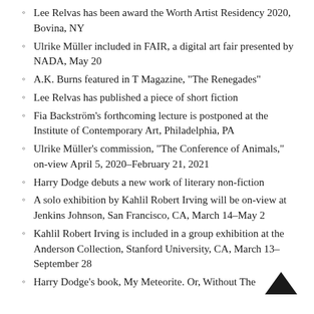Lee Relvas has been award the Worth Artist Residency 2020, Bovina, NY
Ulrike Müller included in FAIR, a digital art fair presented by NADA, May 20
A.K. Burns featured in T Magazine, "The Renegades"
Lee Relvas has published a piece of short fiction
Fia Backström's forthcoming lecture is postponed at the Institute of Contemporary Art, Philadelphia, PA
Ulrike Müller's commission, "The Conference of Animals," on-view April 5, 2020–February 21, 2021
Harry Dodge debuts a new work of literary non-fiction
A solo exhibition by Kahlil Robert Irving will be on-view at Jenkins Johnson, San Francisco, CA, March 14–May 2
Kahlil Robert Irving is included in a group exhibition at the Anderson Collection, Stanford University, CA, March 13–September 28
Harry Dodge's book, My Meteorite. Or, Without The